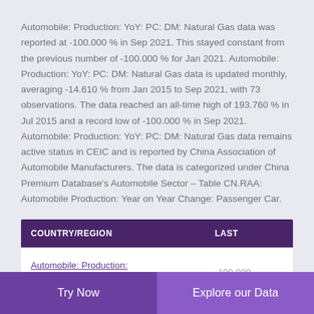Automobile: Production: YoY: PC: DM: Natural Gas data was reported at -100.000 % in Sep 2021. This stayed constant from the previous number of -100.000 % for Jan 2021. Automobile: Production: YoY: PC: DM: Natural Gas data is updated monthly, averaging -14.610 % from Jan 2015 to Sep 2021, with 73 observations. The data reached an all-time high of 193.760 % in Jul 2015 and a record low of -100.000 % in Sep 2021. Automobile: Production: YoY: PC: DM: Natural Gas data remains active status in CEIC and is reported by China Association of Automobile Manufacturers. The data is categorized under China Premium Database's Automobile Sector – Table CN.RAA: Automobile Production: Year on Year Change: Passenger Car.
| COUNTRY/REGION | LAST |
| --- | --- |
| Automobile: Production: | -100.000 |
Try Now   Explore our Data